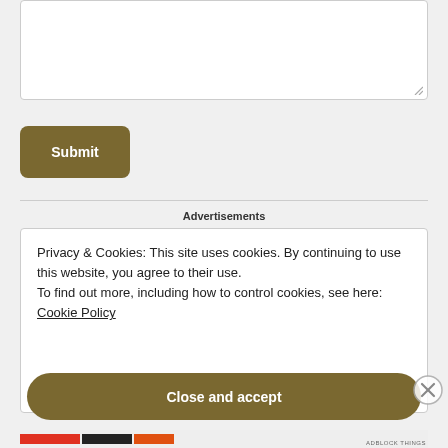[Figure (screenshot): A text area input box with a resize handle in the bottom-right corner]
Submit
Advertisements
Privacy & Cookies: This site uses cookies. By continuing to use this website, you agree to their use.
To find out more, including how to control cookies, see here:
Cookie Policy
Close and accept